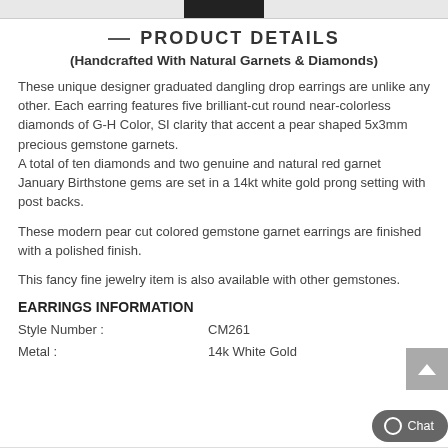— PRODUCT DETAILS
(Handcrafted With Natural Garnets & Diamonds)
These unique designer graduated dangling drop earrings are unlike any other. Each earring features five brilliant-cut round near-colorless diamonds of G-H Color, SI clarity that accent a pear shaped 5x3mm precious gemstone garnets. A total of ten diamonds and two genuine and natural red garnet January Birthstone gems are set in a 14kt white gold prong setting with post backs.
These modern pear cut colored gemstone garnet earrings are finished with a polished finish.
This fancy fine jewelry item is also available with other gemstones.
EARRINGS INFORMATION
|  |  |
| --- | --- |
| Style Number : | CM261 |
| Metal : | 14k White Gold |